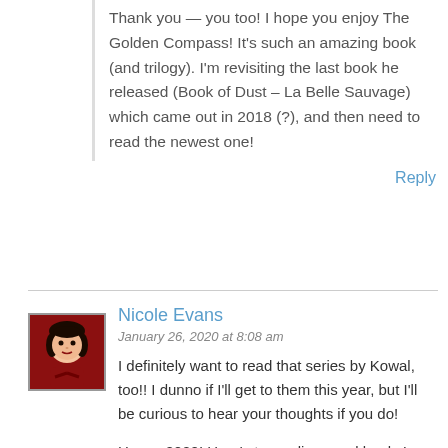Thank you — you too! I hope you enjoy The Golden Compass! It's such an amazing book (and trilogy). I'm revisiting the last book he released (Book of Dust – La Belle Sauvage) which came out in 2018 (?), and then need to read the newest one!
Reply
[Figure (illustration): Avatar image of Nicole Evans — cartoon-style avatar with dark hair and red top on dark red circular background, inside a square border]
Nicole Evans
January 26, 2020 at 8:08 am
I definitely want to read that series by Kowal, too!! I dunno if I'll get to them this year, but I'll be curious to hear your thoughts if you do!
Happy 2020! Here's to reading good books!